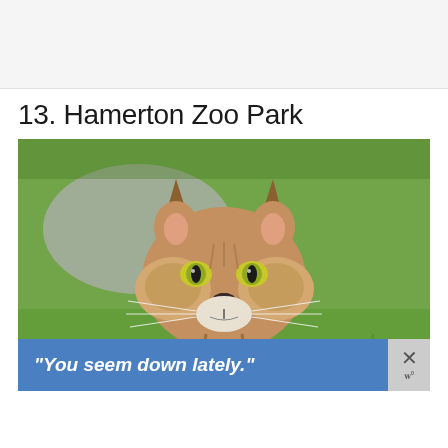[Figure (other): Top placeholder / banner area with light gray background]
13. Hamerton Zoo Park
[Figure (photo): Close-up photograph of a lynx (large wild cat) looking directly at the camera, with green grassy background and a blurred gray rock. The lynx has distinctive tufted ears, yellow-green eyes, white cheek fur, and visible whiskers.]
“You seem down lately.”